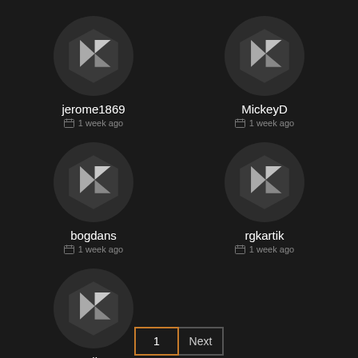[Figure (illustration): User avatar icon for jerome1869 - dark circle with geometric K logo]
jerome1869
1 week ago
[Figure (illustration): User avatar icon for MickeyD - dark circle with geometric K logo]
MickeyD
1 week ago
[Figure (illustration): User avatar icon for bogdans - dark circle with geometric K logo]
bogdans
1 week ago
[Figure (illustration): User avatar icon for rgkartik - dark circle with geometric K logo]
rgkartik
1 week ago
[Figure (illustration): User avatar icon for Samdirects - dark circle with geometric K logo]
Samdirects
1 month ago
1 Next